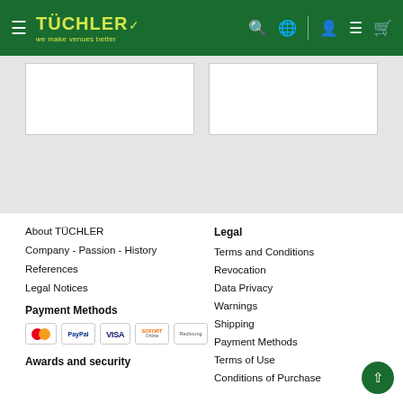TÜCHLER we make venues better
[Figure (screenshot): Two white product card placeholders on gray background]
About TÜCHLER
Company - Passion - History
References
Legal Notices
Legal
Terms and Conditions
Revocation
Data Privacy
Warnings
Shipping
Payment Methods
Terms of Use
Conditions of Purchase
Payment Methods
[Figure (infographic): Payment method icons: Mastercard, PayPal, VISA, Sofort, Rechnung]
Awards and security